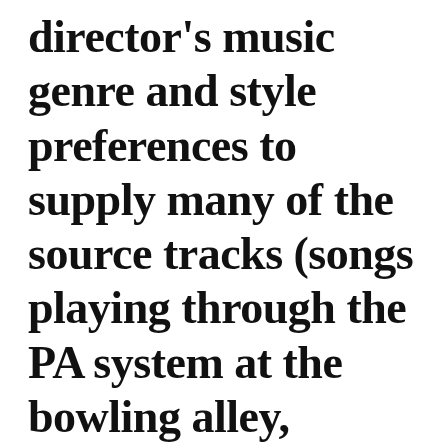director's music genre and style preferences to supply many of the source tracks (songs playing through the PA system at the bowling alley, through speaker in Jeff's apartment,